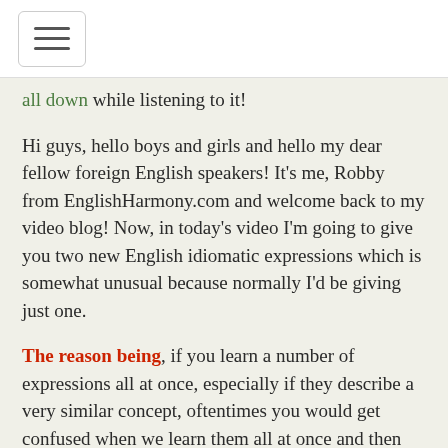[hamburger menu icon]
all down while listening to it!
Hi guys, hello boys and girls and hello my dear fellow foreign English speakers! It's me, Robby from EnglishHarmony.com and welcome back to my video blog! Now, in today's video I'm going to give you two new English idiomatic expressions which is somewhat unusual because normally I'd be giving just one.
The reason being, if you learn a number of expressions all at once, especially if they describe a very similar concept, oftentimes you would get confused when we learn them all at once and then we try to speak all those expressions would mix